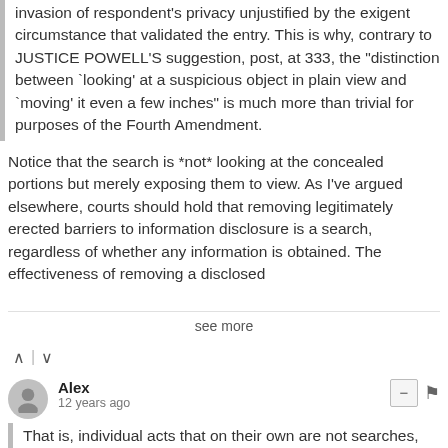invasion of respondent's privacy unjustified by the exigent circumstance that validated the entry. This is why, contrary to JUSTICE POWELL'S suggestion, post, at 333, the "distinction between `looking' at a suspicious object in plain view and `moving' it even a few inches" is much more than trivial for purposes of the Fourth Amendment.
Notice that the search is *not* looking at the concealed portions but merely exposing them to view. As I've argued elsewhere, courts should hold that removing legitimately erected barriers to information disclosure is a search, regardless of whether any information is obtained. The effectiveness of removing a disclosed...
see more
Alex
12 years ago
That is, individual acts that on their own are not searches, when committed in some particular combinations, become searches. Thus in Maynard, the court does not look at individual recordings of data from the GPS device and ask whether they are searches. Instead, the court looks at the...